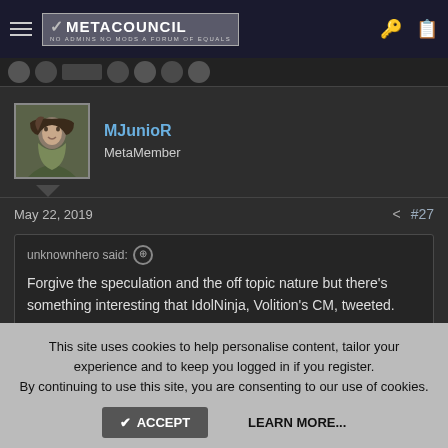METACOUNCIL — NO ADMINS NO MODS A FORUM OF EQUALS
MJunioR — MetaMember
May 22, 2019  #27
unknownhero said: Forgive the speculation and the off topic nature but there's something interesting that IdolNinja, Volition's CM, tweeted.
This site uses cookies to help personalise content, tailor your experience and to keep you logged in if you register. By continuing to use this site, you are consenting to our use of cookies.
ACCEPT   LEARN MORE...